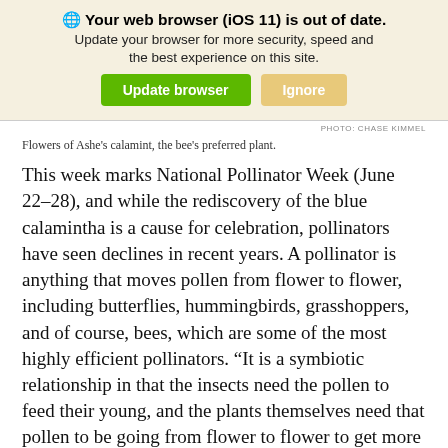[Figure (screenshot): Browser update notification banner with globe icon, bold text 'Your web browser (iOS 11) is out of date.', subtitle 'Update your browser for more security, speed and the best experience on this site.', and two buttons: green 'Update browser' and yellow 'Ignore'.]
PHOTO: CHASE KIMMEL
Flowers of Ashe's calamint, the bee's preferred plant.
This week marks National Pollinator Week (June 22–28), and while the rediscovery of the blue calamintha is a cause for celebration, pollinators have seen declines in recent years. A pollinator is anything that moves pollen from flower to flower, including butterflies, hummingbirds, grasshoppers, and of course, bees, which are some of the most highly efficient pollinators. “It is a symbiotic relationship in that the insects need the pollen to feed their young, and the plants themselves need that pollen to be going from flower to flower to get more genetic diversity in